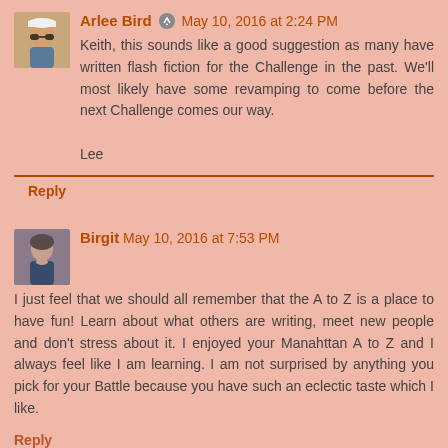Arlee Bird  May 10, 2016 at 2:24 PM
Keith, this sounds like a good suggestion as many have written flash fiction for the Challenge in the past. We'll most likely have some revamping to come before the next Challenge comes our way.

Lee
Reply
Birgit  May 10, 2016 at 7:53 PM
I just feel that we should all remember that the A to Z is a place to have fun! Learn about what others are writing, meet new people and don't stress about it. I enjoyed your Manahttan A to Z and I always feel like I am learning. I am not surprised by anything you pick for your Battle because you have such an eclectic taste which I like.
Reply